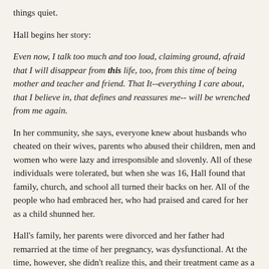things quiet.
Hall begins her story:
Even now, I talk too much and too loud, claiming ground, afraid that I will disappear from this life, too, from this time of being mother and teacher and friend. That It--everything I care about, that I believe in, that defines and reassures me-- will be wrenched from me again.
In her community, she says, everyone knew about husbands who cheated on their wives, parents who abused their children, men and women who were lazy and irresponsible and slovenly. All of these individuals were tolerated, but when she was 16, Hall found that family, church, and school all turned their backs on her. All of the people who had embraced her, who had praised and cared for her as a child shunned her.
Hall's family, her parents were divorced and her father had remarried at the time of her pregnancy, was dysfunctional. At the time, however, she didn't realize this, and their treatment came as a shock, a disillusionment, and an isolation almost overwhelming for